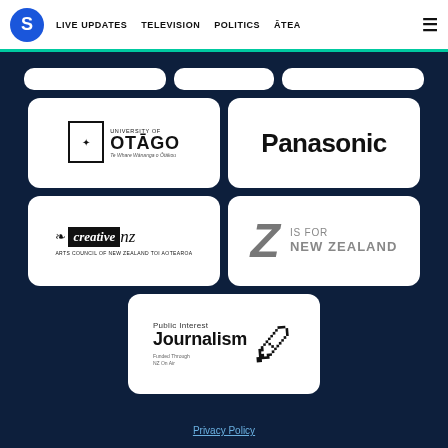S | LIVE UPDATES | TELEVISION | POLITICS | ĀTEA
[Figure (logo): University of Otago logo]
[Figure (logo): Panasonic logo]
[Figure (logo): Creative NZ - Arts Council of New Zealand Toi Aotearoa logo]
[Figure (logo): Z Is For New Zealand logo]
[Figure (logo): Public Interest Journalism - Funded Through NZ On Air logo]
Privacy Policy